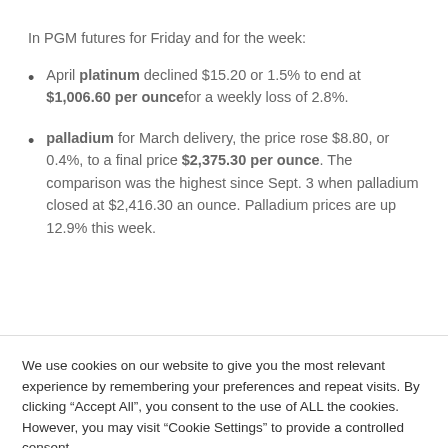In PGM futures for Friday and for the week:
April platinum declined $15.20 or 1.5% to end at $1,006.60 per ounce for a weekly loss of 2.8%.
palladium for March delivery, the price rose $8.80, or 0.4%, to a final price $2,375.30 per ounce. The comparison was the highest since Sept. 3 when palladium closed at $2,416.30 an ounce. Palladium prices are up 12.9% this week.
We use cookies on our website to give you the most relevant experience by remembering your preferences and repeat visits. By clicking “Accept All”, you consent to the use of ALL the cookies. However, you may visit “Cookie Settings” to provide a controlled consent.